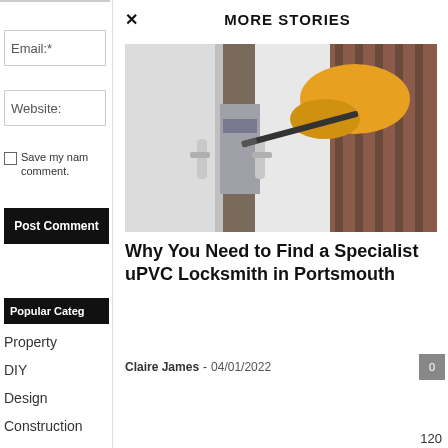Email:*
Website:
Save my name, comment.
Post Comment
Popular Categories
Property
DIY
Design
Construction
MORE STORIES
[Figure (photo): Person wearing yellow gloves using a screwdriver on a uPVC door lock]
Why You Need to Find a Specialist uPVC Locksmith in Portsmouth
Claire James - 04/01/2022
120